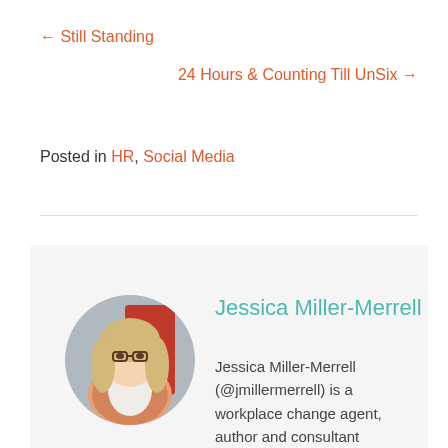← Still Standing
24 Hours & Counting Till UnSix →
Posted in HR, Social Media
[Figure (photo): Circular portrait photo of Jessica Miller-Merrell, a woman with long blonde hair and glasses, wearing a floral jacket, seated against a red background.]
Jessica Miller-Merrell
Jessica Miller-Merrell (@jmillermerrell) is a workplace change agent, author and consultant focused on human resources